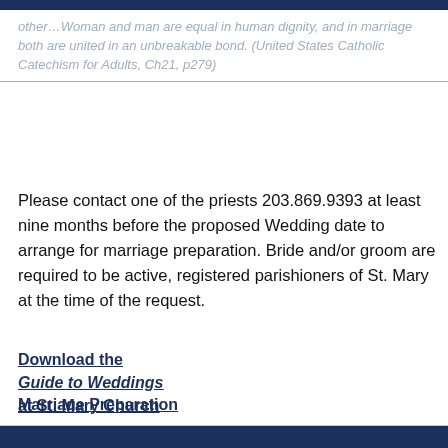other…Woman and man are equal in human dignity, and in marriage both are united in an unbreakable bond. (United States Catholic Catechism for Adults, Ch21, p279)
Please contact one of the priests 203.869.9393 at least nine months before the proposed Wedding date to arrange for marriage preparation. Bride and/or groom are required to be active, registered parishioners of St. Mary at the time of the request.
Download the Guide to Weddings at St. Mary Church
Marriage Preparation